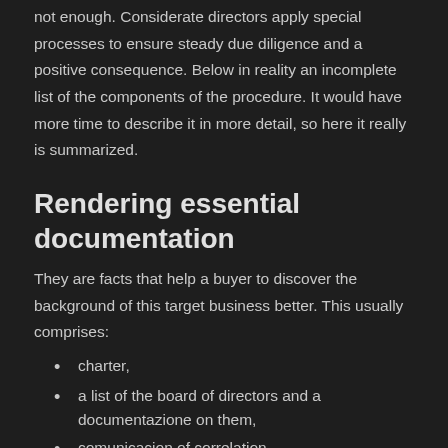not enough. Considerate directors apply special processes to ensure steady due diligence and a positive consequence. Below in reality an incomplete list of the components of the procedure. It would have more time to describe it in more detail, so here it really is summarized.
Rendering essential documentation
They are facts that help a buyer to discover the background of this target business better. This usually comprises:
charter,
a list of the board of directors and a documentazione on them,
comunicacion of correlation,
minutes of meetings,
company chart,
corporate and business records of agreements,